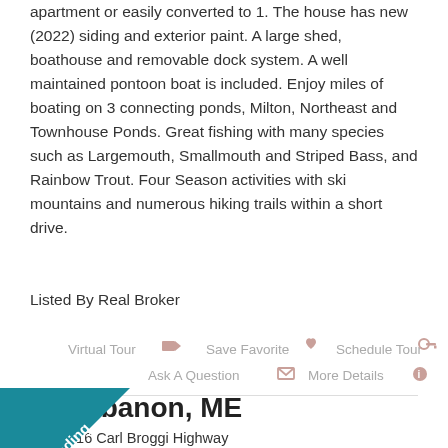apartment or easily converted to 1. The house has new (2022) siding and exterior paint. A large shed, boathouse and removable dock system. A well maintained pontoon boat is included. Enjoy miles of boating on 3 connecting ponds, Milton, Northeast and Townhouse Ponds. Great fishing with many species such as Largemouth, Smallmouth and Striped Bass, and Rainbow Trout. Four Season activities with ski mountains and numerous hiking trails within a short drive.
Listed By Real Broker
[Figure (infographic): Action buttons row: Virtual Tour (video icon), Save Favorite (heart icon), Schedule Tour (key icon), Ask A Question (envelope icon), More Details (info icon)]
[Figure (infographic): Pending ribbon badge in teal/dark cyan color on corner]
Lebanon, ME
216 Carl Broggi Highway